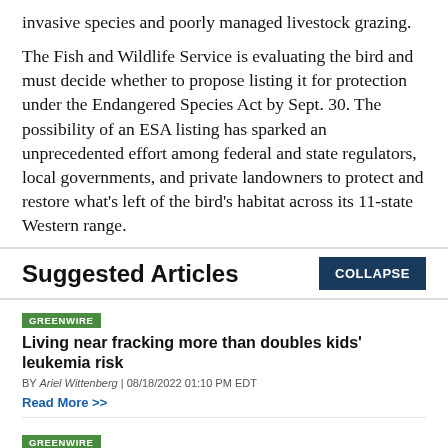invasive species and poorly managed livestock grazing.
The Fish and Wildlife Service is evaluating the bird and must decide whether to propose listing it for protection under the Endangered Species Act by Sept. 30. The possibility of an ESA listing has sparked an unprecedented effort among federal and state regulators, local governments, and private landowners to protect and restore what's left of the bird's habitat across its 11-state Western range.
Suggested Articles
GREENWIRE
Living near fracking more than doubles kids' leukemia risk
BY Ariel Wittenberg | 08/18/2022 01:10 PM EDT
Read More >>
GREENWIRE
Mining companies strike gold with new climate law